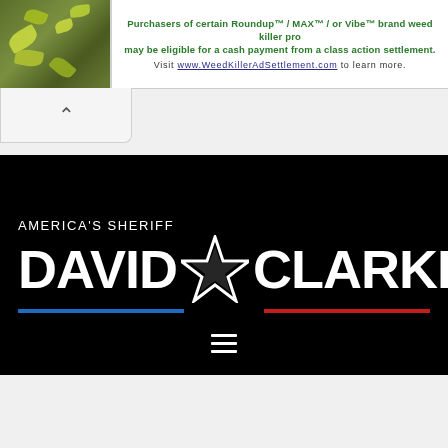[Figure (other): Advertisement banner: image of yellow flowering plant on left, green text 'Purchasers of certain Roundup / MAX / or Vibe brand weed killer pro may be eligible for a cash payment from a class action settlement. Visit www.WeedKillerAdSettlement.com to learn more.']
[Figure (logo): America's Sheriff David Clarke logo on black background. Large white bold text 'AMERICA'S SHERIFF' above 'DAVID★CLARKE' with a large star between the names. Blue horizontal line under DAVID portion, red horizontal line under CLARKE portion. Hamburger menu icon below.]